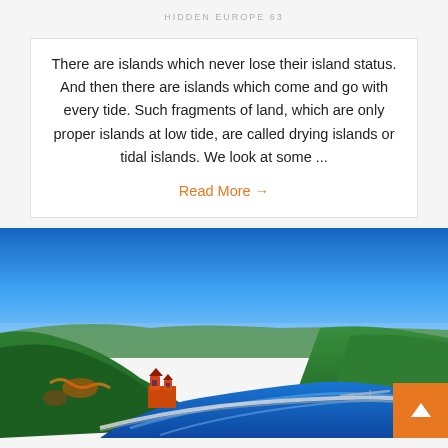HIDDEN EUROPE 63
There are islands which never lose their island status. And then there are islands which come and go with every tide. Such fragments of land, which are only proper islands at low tide, are called drying islands or tidal islands. We look at some ...
Read More →
[Figure (photo): Aerial view of a river bend (likely the Rhine) with a medieval castle on the hillside surrounded by forested slopes, a road running along the river, with blue sky above and reflections on the water. An orange back-to-top button is overlaid in the bottom-right corner.]